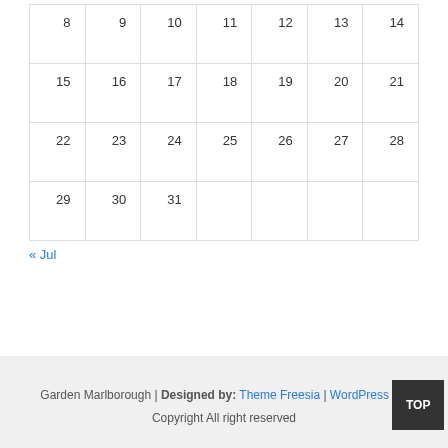| 8 | 9 | 10 | 11 | 12 | 13 | 14 |
| 15 | 16 | 17 | 18 | 19 | 20 | 21 |
| 22 | 23 | 24 | 25 | 26 | 27 | 28 |
| 29 | 30 | 31 |  |  |  |  |
« Jul
Garden Marlborough | Designed by: Theme Freesia | WordPress | © Copyright All right reserved